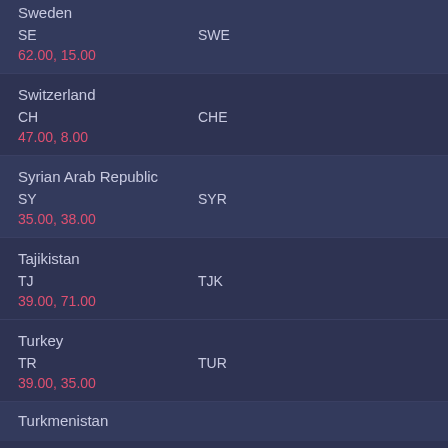| Country | ISO2 | ISO3 | Coordinates |
| --- | --- | --- | --- |
| Sweden | SE | SWE | 62.00, 15.00 |
| Switzerland | CH | CHE | 47.00, 8.00 |
| Syrian Arab Republic | SY | SYR | 35.00, 38.00 |
| Tajikistan | TJ | TJK | 39.00, 71.00 |
| Turkey | TR | TUR | 39.00, 35.00 |
| Turkmenistan |  |  |  |